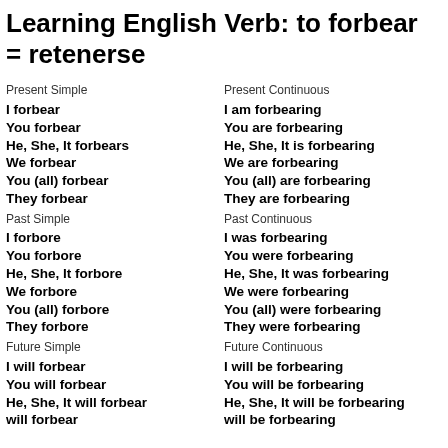Learning English Verb: to forbear = retenerse
Present Simple
I forbear
You forbear
He, She, It forbears
We forbear
You (all) forbear
They forbear
Past Simple
I forbore
You forbore
He, She, It forbore
We forbore
You (all) forbore
They forbore
Future Simple
I will forbear
You will forbear
He, She, It will forbear
will forbear
Present Continuous
I am forbearing
You are forbearing
He, She, It is forbearing
We are forbearing
You (all) are forbearing
They are forbearing
Past Continuous
I was forbearing
You were forbearing
He, She, It was forbearing
We were forbearing
You (all) were forbearing
They were forbearing
Future Continuous
I will be forbearing
You will be forbearing
He, She, It will be forbearing
will be forbearing